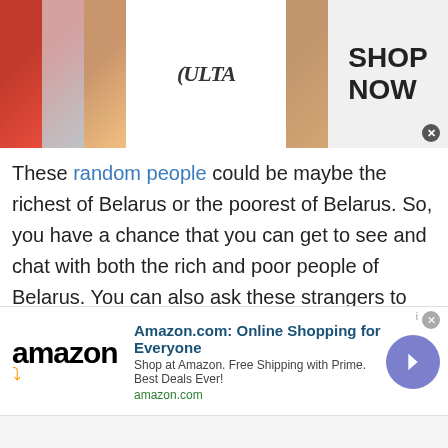[Figure (screenshot): Ulta Beauty banner advertisement with makeup images (lips, brush, eye), Ulta logo, and SHOP NOW button with close X]
These random people could be maybe the richest of Belarus or the poorest of Belarus. So, you have a chance that you can get to see and chat with both the rich and poor people of Belarus. You can also ask these strangers to share pictures with you and alongside you can also share your pictures and videos as well. Talkwithstranger is a platform where multimedia is supported as well.
3. Conference Chat with people Belarus:
[Figure (screenshot): Amazon.com advertisement banner: Amazon logo, 'Amazon.com: Online Shopping for Everyone', 'Shop at Amazon. Free Shipping with Prime. Best Deals Ever!', amazon.com link, and a right-arrow button]